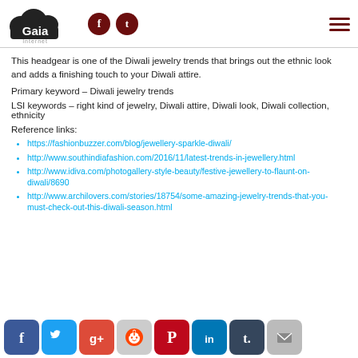Gaia Internet [logo] [facebook] [twitter] [menu]
This headgear is one of the Diwali jewelry trends that brings out the ethnic look and adds a finishing touch to your Diwali attire.
Primary keyword – Diwali jewelry trends
LSI keywords – right kind of jewelry, Diwali attire, Diwali look, Diwali collection, ethnicity
Reference links:
https://fashionbuzzer.com/blog/jewellery-sparkle-diwali/
http://www.southindiafashion.com/2016/11/latest-trends-in-jewellery.html
http://www.idiva.com/photogallery-style-beauty/festive-jewellery-to-flaunt-on-diwali/8690
http://www.archilovers.com/stories/18754/some-amazing-jewelry-trends-that-you-must-check-out-this-diwali-season.html
Social share icons: Facebook, Twitter, Google+, Reddit, Pinterest, LinkedIn, Tumblr, Email